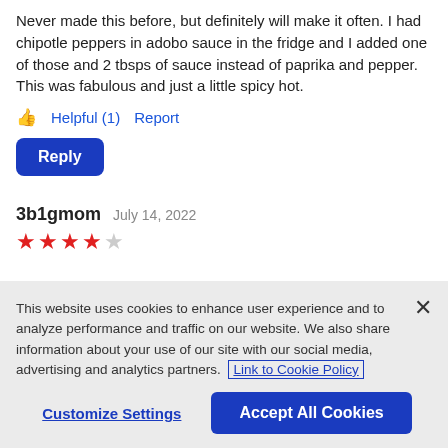Never made this before, but definitely will make it often. I had chipotle peppers in adobo sauce in the fridge and I added one of those and 2 tbsps of sauce instead of paprika and pepper. This was fabulous and just a little spicy hot.
Helpful (1)  Report
Reply
3b1gmom   July 14, 2022
[Figure (other): 4 out of 5 red stars rating]
This website uses cookies to enhance user experience and to analyze performance and traffic on our website. We also share information about your use of our site with our social media, advertising and analytics partners. Link to Cookie Policy
Customize Settings   Accept All Cookies